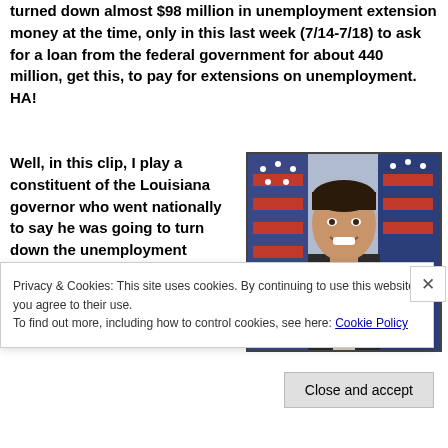turned down almost $98 million in unemployment extension money at the time, only in this last week (7/14-7/18) to ask for a loan from the federal government for about 440 million, get this, to pay for extensions on unemployment. HA!
Well, in this clip, I play a constituent of the Louisiana governor who went nationally to say he was going to turn down the unemployment money
[Figure (photo): Headshot of a smiling man in a dark suit with American flags in the background, believed to be Bobby Jindal, Louisiana governor.]
Privacy & Cookies: This site uses cookies. By continuing to use this website, you agree to their use.
To find out more, including how to control cookies, see here: Cookie Policy
Close and accept